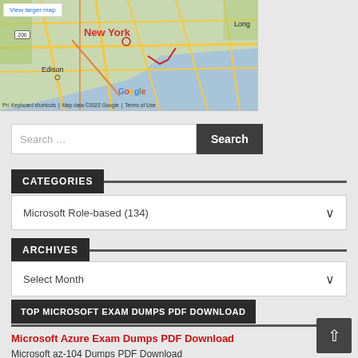[Figure (map): Google Maps screenshot showing New York area with Edison, NJ visible. Includes 'View larger map' button, Google logo, keyboard shortcuts, map data copyright, and Terms of Use footer.]
Search …
CATEGORIES
Microsoft Role-based (134)
ARCHIVES
Select Month
TOP MICROSOFT EXAM DUMPS PDF DOWNLOAD
Microsoft Azure Exam Dumps PDF Download
Microsoft az-104 Dumps PDF Download